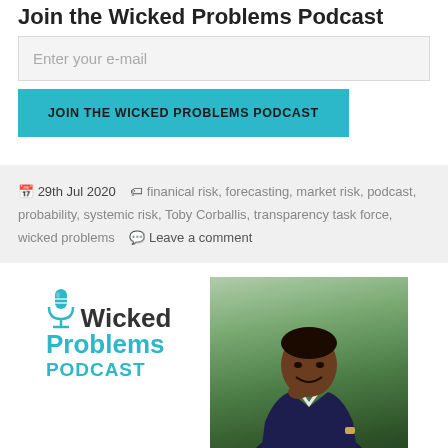Join the Wicked Problems Podcast
Enter your e-mail
JOIN THE WICKED PROBLEMS PODCAST
📅 29th Jul 2020  🏷 finanical risk, forecasting, market risk, podcast, probability, systemic risk, Toby Corballis, transparency task force, wicked problems  💬 Leave a comment
[Figure (logo): Wicked Problems Podcast logo with microphone icon and teal text]
[Figure (photo): Photo of a man in a dark suit, smiling, with hand on chin, outdoors with green background]